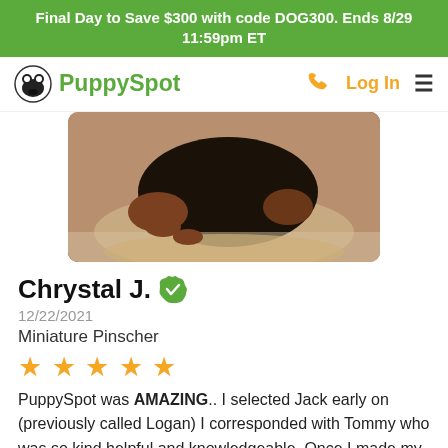Final Day to Save $300 with code DOG300. Ends 8/29 11:59pm ET
[Figure (logo): PuppySpot logo with dog face icon and green text, plus phone icon, Log In link, and hamburger menu]
[Figure (photo): Black and tan Miniature Pinscher puppy curled up in a basket]
Chrystal J.
12/22/2021
Miniature Pinscher
★★★★★
PuppySpot was AMAZING.. I selected Jack early on (previously called Logan) I corresponded with Tommy who was so kind helpful and knowledgeable. Once I made my decision got pictures and videos and updates